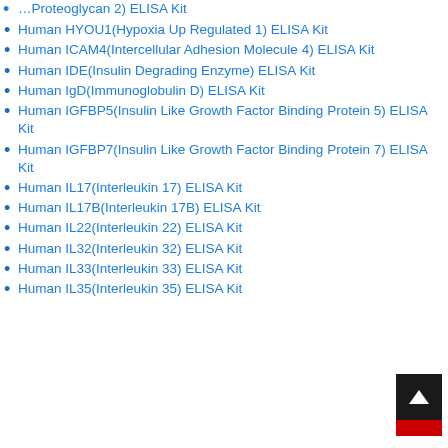Human HYOU1(Hypoxia Up Regulated 1) ELISA Kit
Human ICAM4(Intercellular Adhesion Molecule 4) ELISA Kit
Human IDE(Insulin Degrading Enzyme) ELISA Kit
Human IgD(Immunoglobulin D) ELISA Kit
Human IGFBP5(Insulin Like Growth Factor Binding Protein 5) ELISA Kit
Human IGFBP7(Insulin Like Growth Factor Binding Protein 7) ELISA Kit
Human IL17(Interleukin 17) ELISA Kit
Human IL17B(Interleukin 17B) ELISA Kit
Human IL22(Interleukin 22) ELISA Kit
Human IL32(Interleukin 32) ELISA Kit
Human IL33(Interleukin 33) ELISA Kit
Human IL35(Interleukin 35) ELISA Kit